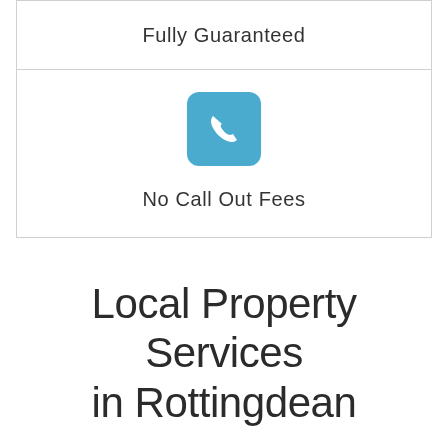Fully Guaranteed
[Figure (illustration): Blue rounded square icon with a white telephone handset symbol]
No Call Out Fees
Local Property Services in Rottingdean